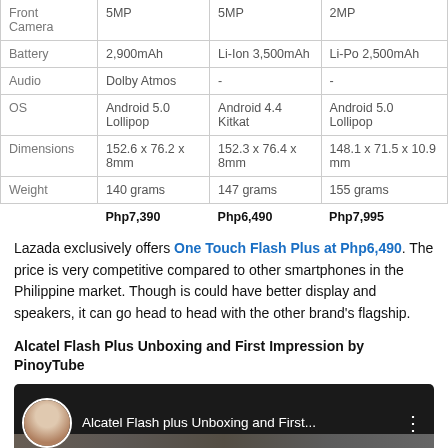|  | Alcatel Flash Plus | One Touch Flash Plus | Third Phone |
| --- | --- | --- | --- |
| Front Camera | 5MP | 5MP | 2MP |
| Battery | 2,900mAh | Li-Ion 3,500mAh | Li-Po 2,500mAh |
| Audio | Dolby Atmos | - | - |
| OS | Android 5.0 Lollipop | Android 4.4 Kitkat | Android 5.0 Lollipop |
| Dimensions | 152.6 x 76.2 x 8mm | 152.3 x 76.4 x 8mm | 148.1 x 71.5 x 10.9 mm |
| Weight | 140 grams | 147 grams | 155 grams |
|  | Php7,390 | Php6,490 | Php7,995 |
Lazada exclusively offers One Touch Flash Plus at Php6,490. The price is very competitive compared to other smartphones in the Philippine market. Though is could have better display and speakers, it can go head to head with the other brand's flagship.
Alcatel Flash Plus Unboxing and First Impression by PinoyTube
[Figure (screenshot): YouTube video thumbnail showing Alcatel Flash plus Unboxing and First... with avatar and three-dot menu]